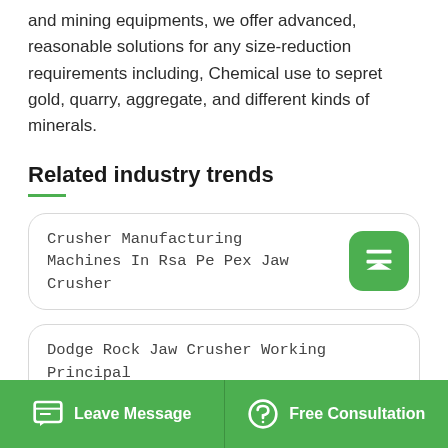and mining equipments, we offer advanced, reasonable solutions for any size-reduction requirements including, Chemical use to sepret gold, quarry, aggregate, and different kinds of minerals.
Related industry trends
Crusher Manufacturing Machines In Rsa Pe Pex Jaw Crusher
Dodge Rock Jaw Crusher Working Principal
The New Track Mounted Jaw Crusher For Sale Design
Leave Message   Free Consultation